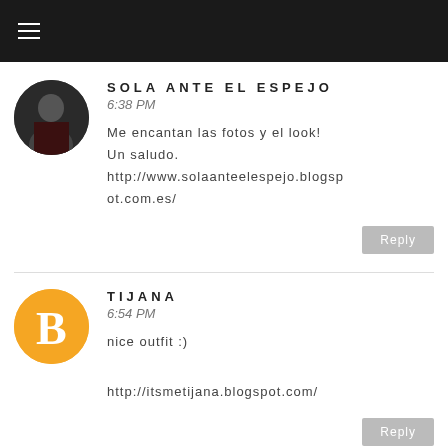≡
SOLA ANTE EL ESPEJO
6:38 PM

Me encantan las fotos y el look!
Un saludo.
http://www.solaanteelespejo.blogspot.com.es/
Reply
TIJANA
6:54 PM

nice outfit :)

http://itsmetijana.blogspot.com/
Reply